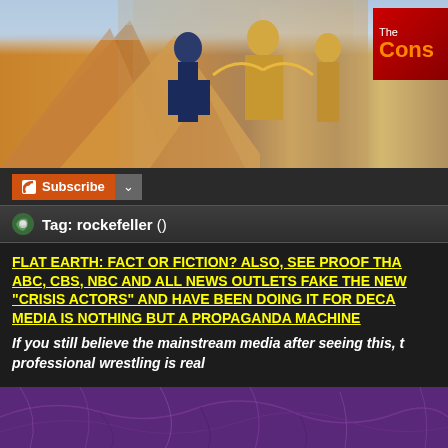[Figure (photo): Banner image showing Egyptian pyramids on the left against a blue sky, Egyptian hieroglyphic wall paintings with figures in the center, and a red logo with 'The Cons' text in the top right corner]
Subscribe
Tag: rockefeller ()
FLAT EARTH: FACT OR FICTION? ALSO, SEE PROOF THAT ABC, CBS, NBC AND ALL NEWS OUTLETS FAKE THE NEWS WITH "CRISIS ACTORS" AND HAVE BEEN DOING IT FOR DECADES! MEDIA IS NOTHING BUT A PROPAGANDA MACHINE
If you still believe the mainstream media after seeing this, then you probably think professional wrestling is real
[Figure (photo): Purple and dark image showing vein-like organic patterns, bottom portion of the page]